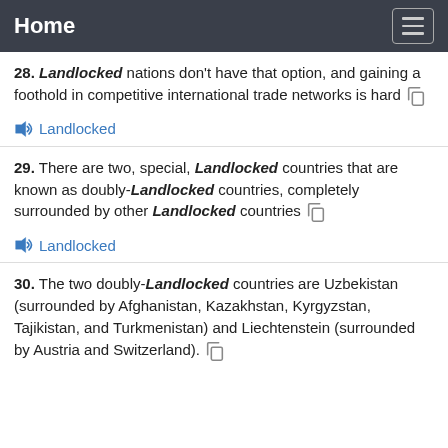Home
28. Landlocked nations don't have that option, and gaining a foothold in competitive international trade networks is hard
29. There are two, special, Landlocked countries that are known as doubly-Landlocked countries, completely surrounded by other Landlocked countries
30. The two doubly-Landlocked countries are Uzbekistan (surrounded by Afghanistan, Kazakhstan, Kyrgyzstan, Tajikistan, and Turkmenistan) and Liechtenstein (surrounded by Austria and Switzerland).